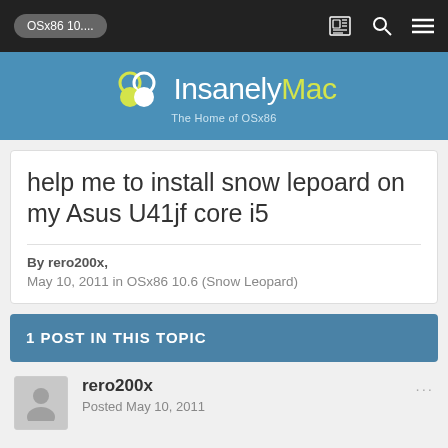OSx86 10....
[Figure (logo): InsanelyMac logo with circular overlapping shapes and text 'InsanelyMac - The Home of OSx86']
help me to install snow lepoard on my Asus U41jf core i5
By rero200x,
May 10, 2011 in OSx86 10.6 (Snow Leopard)
1 POST IN THIS TOPIC
rero200x
Posted May 10, 2011